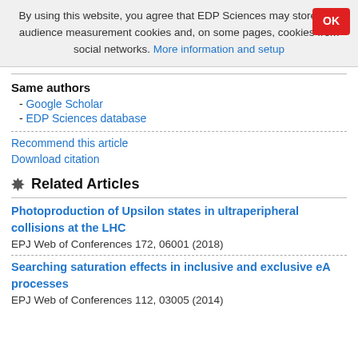By using this website, you agree that EDP Sciences may store web audience measurement cookies and, on some pages, cookies from social networks. More information and setup
Same authors
- Google Scholar
- EDP Sciences database
Recommend this article
Download citation
Related Articles
Photoproduction of Upsilon states in ultraperipheral collisions at the LHC
EPJ Web of Conferences 172, 06001 (2018)
Searching saturation effects in inclusive and exclusive eA processes
EPJ Web of Conferences 112, 03005 (2014)